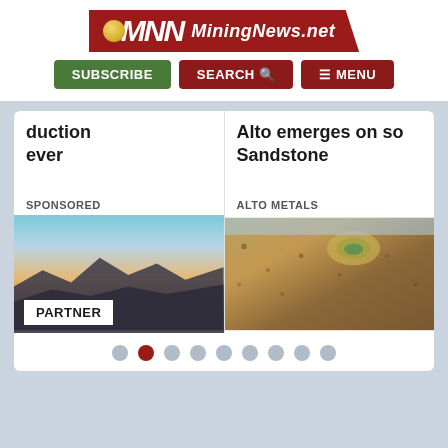[Figure (logo): MiningNews.net logo with red background, stylized MNN letters, and gold circle accent]
[Figure (screenshot): Navigation bar with SUBSCRIBE (green), SEARCH (dark red), and MENU (dark red) buttons]
duction ever
SPONSORED
Alto emerges on so Sandstone
ALTO METALS
[Figure (photo): Sunset or dusk landscape with mountain silhouette and warm sky gradient]
PARTNER
[Figure (photo): Aerial view of open pit mine surrounded by red Australian outback landscape with sparse vegetation]